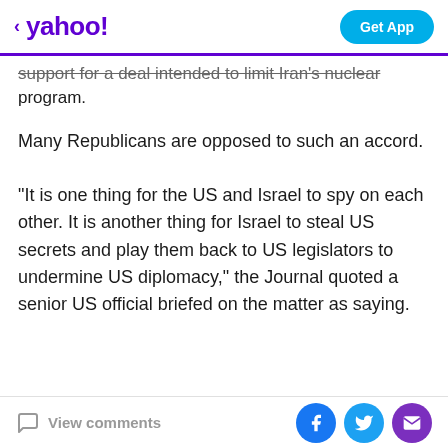yahoo! Get App
support for a deal intended to limit Iran's nuclear program.
Many Republicans are opposed to such an accord.
"It is one thing for the US and Israel to spy on each other. It is another thing for Israel to steal US secrets and play them back to US legislators to undermine US diplomacy," the Journal quoted a senior US official briefed on the matter as saying.
View comments